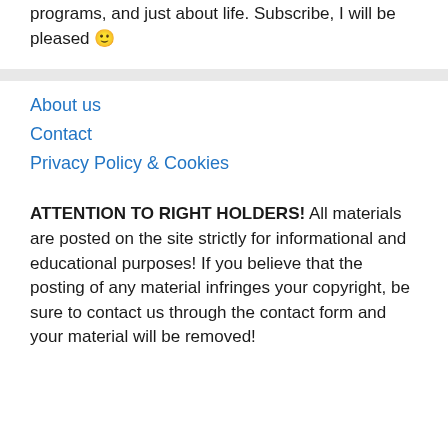programs, and just about life. Subscribe, I will be pleased 🙂
About us
Contact
Privacy Policy & Cookies
ATTENTION TO RIGHT HOLDERS! All materials are posted on the site strictly for informational and educational purposes! If you believe that the posting of any material infringes your copyright, be sure to contact us through the contact form and your material will be removed!